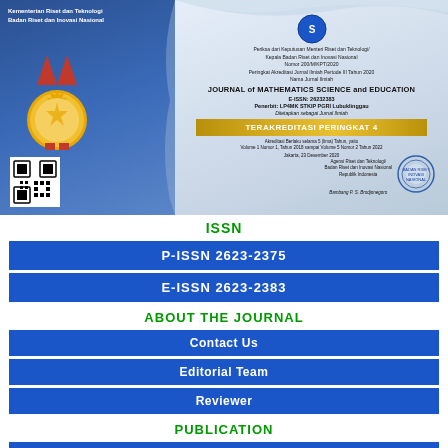[Figure (photo): Accreditation certificate scan for Journal of Mathematics Science and Education, showing logo, gold medal, QR code, TERAKREDITASI PERINGKAT 4 banner, and official signature with stamp. Published by LPPMK STKIP PGRI Lubuklinggau.]
ISSN
P-ISSN 2623-2375
E-ISSN 2623-2383
ABOUT THE JOURNAL
Contact Us
Editorial Team
Reviewer
PUBLICATION
Publication Ethics